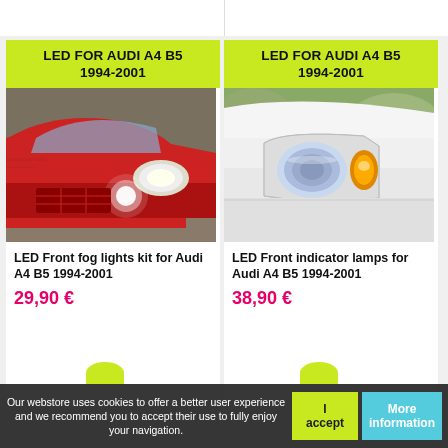[Figure (photo): Red car front with fog light, LED front fog lights for Audi A4 B5 1994-2001]
LED FOR AUDI A4 B5 1994-2001
LED Front fog lights kit for Audi A4 B5 1994-2001
29,90 €
[Figure (photo): White car headlight close-up, LED front indicator lamps for Audi A4 B5 1994-2001]
LED FOR AUDI A4 B5 1994-2001
LED Front indicator lamps for Audi A4 B5 1994-2001
38,90 €
Our webstore uses cookies to offer a better user experience and we recommend you to accept their use to fully enjoy your navigation.